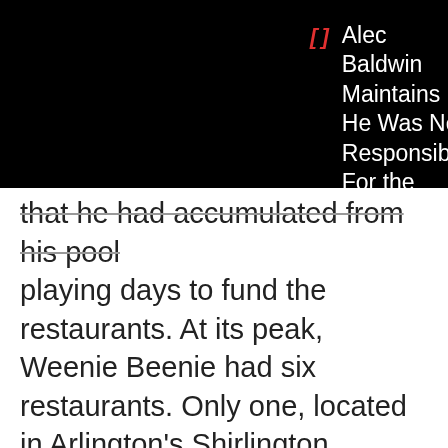Alec Baldwin Maintains He Was Not Responsible For the Tragic Death of Halyna Hutchins
that he had accumulated from his pool playing days to fund the restaurants. At its peak, Weenie Beenie had six restaurants. Only one, located in Arlington's Shirlington section, remains to this day.
8. Minnie Pearl's Chicken
Year Founded: 1960
Number of Stores at Peak: 567